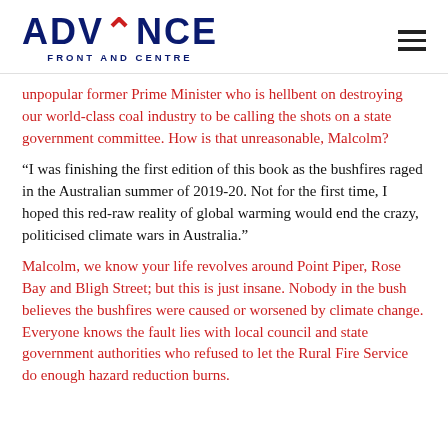ADVANCE FRONT AND CENTRE
unpopular former Prime Minister who is hellbent on destroying our world-class coal industry to be calling the shots on a state government committee. How is that unreasonable, Malcolm?
“I was finishing the first edition of this book as the bushfires raged in the Australian summer of 2019-20. Not for the first time, I hoped this red-raw reality of global warming would end the crazy, politicised climate wars in Australia.”
Malcolm, we know your life revolves around Point Piper, Rose Bay and Bligh Street; but this is just insane. Nobody in the bush believes the bushfires were caused or worsened by climate change. Everyone knows the fault lies with local council and state government authorities who refused to let the Rural Fire Service do enough hazard reduction burns.